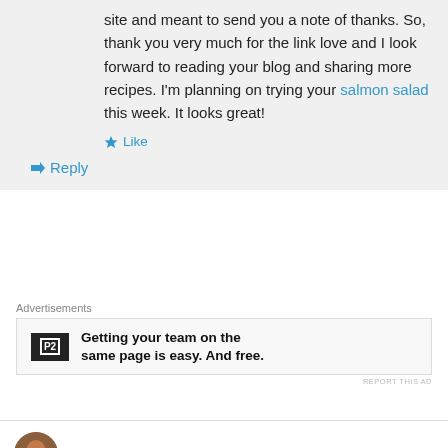site and meant to send you a note of thanks. So, thank you very much for the link love and I look forward to reading your blog and sharing more recipes. I'm planning on trying your salmon salad this week. It looks great!
★ Like
↳ Reply
Advertisements
[Figure (other): Advertisement for P2 product: logo with 'P2' and text 'Getting your team on the same page is easy. And free.']
REPORT THIS AD
Christy on 06/23/2010 at 17:07
Yipeee!!!! I make whipped cream all the time to